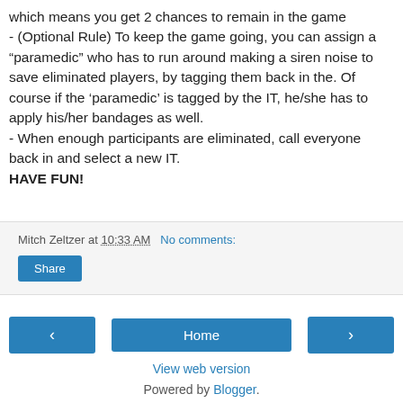which means you get 2 chances to remain in the game
- (Optional Rule) To keep the game going, you can assign a “paramedic” who has to run around making a siren noise to save eliminated players, by tagging them back in the. Of course if the ‘paramedic’ is tagged by the IT, he/she has to apply his/her bandages as well.
- When enough participants are eliminated, call everyone back in and select a new IT.
HAVE FUN!
Mitch Zeltzer at 10:33 AM   No comments:
Share
‹
Home
›
View web version
Powered by Blogger.